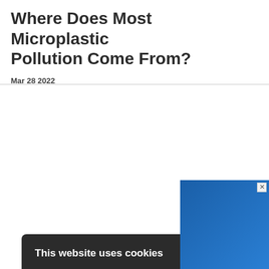Where Does Most Microplastic Pollution Come From?
Mar 28 2022
[Figure (screenshot): WWEM LIVE advertisement banner, 12th & 13th October 2022]
This website uses cookies

International Labmate has an updated privacy and cookies policy to enhance your experience while on our websites. Read about how we use cookies and how you can control them in our privacy policy. Continued use of this site indicates that you accept this policy. Read more

I AGREE   DECLINE ALL